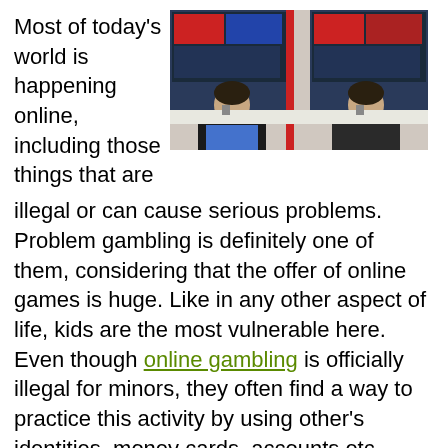Most of today's world is happening online, including those things that are
[Figure (photo): Two people sitting at computers viewed from behind, with gaming/gambling screens visible]
illegal or can cause serious problems. Problem gambling is definitely one of them, considering that the offer of online games is huge. Like in any other aspect of life, kids are the most vulnerable here. Even though online gambling is officially illegal for minors, they often find a way to practice this activity by using other's identities, money cards, accounts etc. Therefore, it's critical to explain to them how problematic online gambling can be and prevent any of the numerous possible issues.
While there are all kinds of methods to stop kids from gambling, prevention is still the key. Therefore, one of the